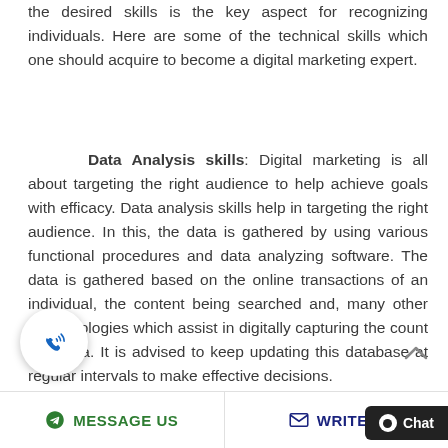the desired skills is the key aspect for recognizing individuals. Here are some of the technical skills which one should acquire to become a digital marketing expert.
Data Analysis skills: Digital marketing is all about targeting the right audience to help achieve goals with efficacy. Data analysis skills help in targeting the right audience. In this, the data is gathered by using various functional procedures and data analyzing software. The data is gathered based on the online transactions of an individual, the content being searched and, many other methodologies which assist in digitally capturing the count and data. It is advised to keep updating this database at regular intervals to make effective decisions.
[Figure (other): Phone/call icon button (circular white button with blue phone and signal waves icon)]
MESSAGE US   WRITE U   Chat